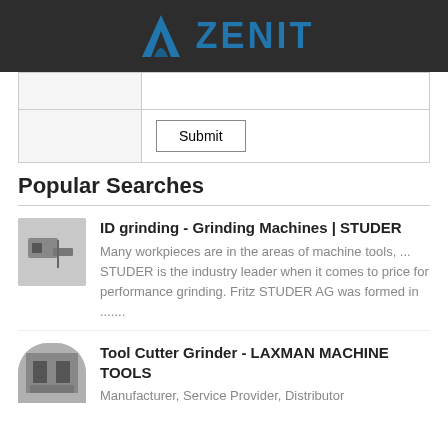[Figure (logo): Zenit logo with blue arch/chevron icon and blue ZENIT text on dark background]
|  |  |
|  | Submit |
Popular Searches
[Figure (photo): Thumbnail image of ID grinding machine]
ID grinding - Grinding Machines | STUDER
Many workpieces are in the areas of machine tools, ... STUDER is the industry leader when it comes to price for performance grinding. Fritz STUDER AG was formed in .......
[Figure (photo): Thumbnail image of tool cutter grinder machine]
Tool Cutter Grinder - LAXMAN MACHINE TOOLS
Manufacturer, Service Provider, Distributor